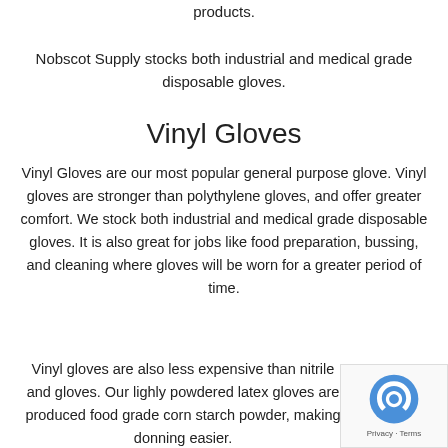products.
Nobscot Supply stocks both industrial and medical grade disposable gloves.
Vinyl Gloves
Vinyl Gloves are our most popular general purpose glove. Vinyl gloves are stronger than polythylene gloves, and offer greater comfort. We stock both industrial and medical grade disposable gloves. It is also great for jobs like food preparation, bussing, and cleaning where gloves will be worn for a greater period of time.
Vinyl gloves are also less expensive than nitrile and gloves. Our lighly powdered latex gloves are produced food grade corn starch powder, making donning easier.